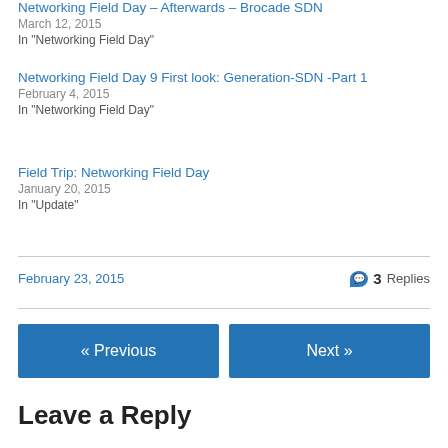Networking Field Day – Afterwards – Brocade SDN
March 12, 2015
In "Networking Field Day"
Networking Field Day 9 First look: Generation-SDN -Part 1
February 4, 2015
In "Networking Field Day"
Field Trip: Networking Field Day
January 20, 2015
In "Update"
February 23, 2015 | 3 Replies
« Previous | Next »
Leave a Reply